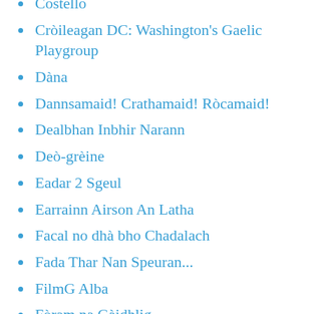Costello
Cròileagan DC: Washington's Gaelic Playgroup
Dàna
Dannsamaid! Crathamaid! Ròcamaid!
Dealbhan Inbhir Narann
Deò-grèine
Eadar 2 Sgeul
Earrainn Airson An Latha
Facal no dhà bho Chadalach
Fada Thar Nan Speuran...
FilmG Alba
Fòram na Gàidhlig
from puxill
Fuaim-lorg
gaelblog